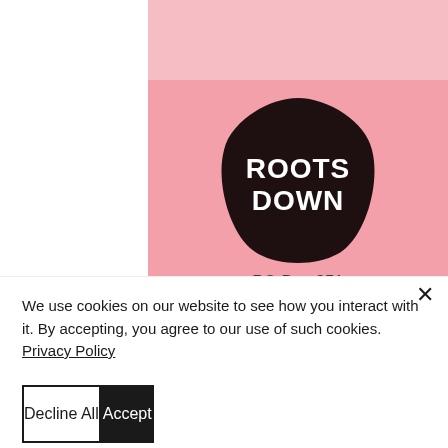[Figure (logo): Roots Down hexagonal logo with white text on dark brown/black background, on a pink card. Below the logo: PO Box 251, Scottdale, GA 30079, tres@rootsdownga.com]
We use cookies on our website to see how you interact with it. By accepting, you agree to our use of such cookies. Privacy Policy
Decline All
Accept
Settings